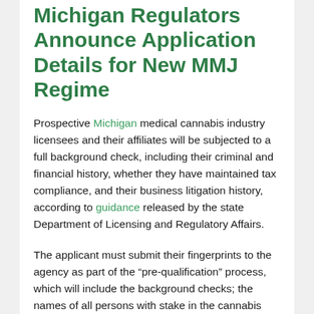Michigan Regulators Announce Application Details for New MMJ Regime
Prospective Michigan medical cannabis industry licensees and their affiliates will be subjected to a full background check, including their criminal and financial history, whether they have maintained tax compliance, and their business litigation history, according to guidance released by the state Department of Licensing and Regulatory Affairs.
The applicant must submit their fingerprints to the agency as part of the “pre-qualification” process, which will include the background checks; the names of all persons with stake in the cannabis venture; documents related to the applicant’s business, including its bylaws is available; and all tax-related